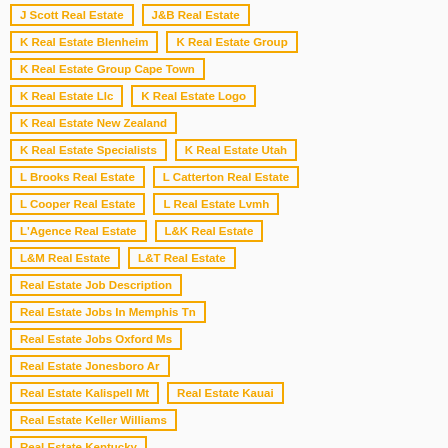J Scott Real Estate
J&B Real Estate
K Real Estate Blenheim
K Real Estate Group
K Real Estate Group Cape Town
K Real Estate Llc
K Real Estate Logo
K Real Estate New Zealand
K Real Estate Specialists
K Real Estate Utah
L Brooks Real Estate
L Catterton Real Estate
L Cooper Real Estate
L Real Estate Lvmh
L'Agence Real Estate
L&K Real Estate
L&M Real Estate
L&T Real Estate
Real Estate Job Description
Real Estate Jobs In Memphis Tn
Real Estate Jobs Oxford Ms
Real Estate Jonesboro Ar
Real Estate Kalispell Mt
Real Estate Kauai
Real Estate Keller Williams
Real Estate Kentucky
Real Estate Key Lock Box